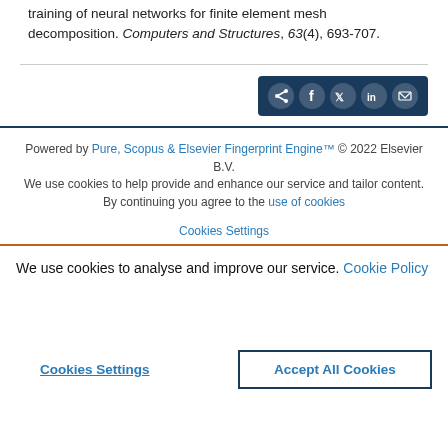training of neural networks for finite element mesh decomposition. Computers and Structures, 63(4), 693-707.
[Figure (other): Social share button bar with dark navy background containing share, Facebook, Twitter, LinkedIn, and email icons]
Powered by Pure, Scopus & Elsevier Fingerprint Engine™ © 2022 Elsevier B.V.
We use cookies to help provide and enhance our service and tailor content. By continuing you agree to the use of cookies
Cookies Settings
We use cookies to analyse and improve our service. Cookie Policy
Cookies Settings
Accept All Cookies